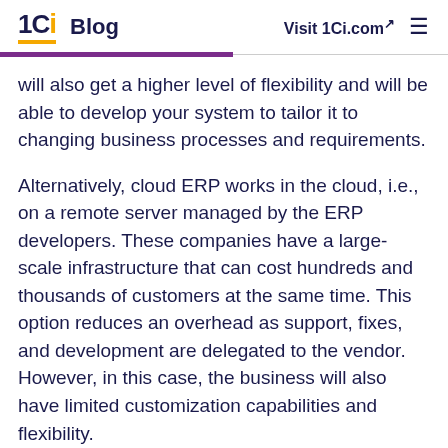1Ci Blog  Visit 1Ci.com
will also get a higher level of flexibility and will be able to develop your system to tailor it to changing business processes and requirements.
Alternatively, cloud ERP works in the cloud, i.e., on a remote server managed by the ERP developers. These companies have a large-scale infrastructure that can cost hundreds and thousands of customers at the same time. This option reduces an overhead as support, fixes, and development are delegated to the vendor. However, in this case, the business will also have limited customization capabilities and flexibility.